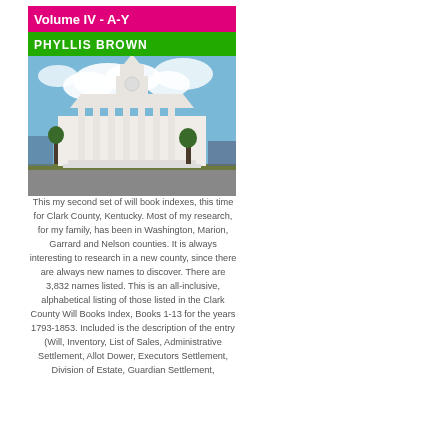[Figure (illustration): Book cover for 'Clark County Kentucky Will Books Index Volume IV A-Y' by Phyllis Brown. Pink title bar reading 'Volume IV - A-Y', green author bar reading 'PHYLLIS BROWN', and a photograph of a white neoclassical courthouse building with a clock tower against a blue sky.]
This my second set of will book indexes, this time for Clark County, Kentucky. Most of my research, for my family, has been in Washington, Marion, Garrard and Nelson counties. It is always interesting to research in a new county, since there are always new names to discover. There are 3,832 names listed. This is an all-inclusive, alphabetical listing of those listed in the Clark County Will Books Index, Books 1-13 for the years 1793-1853. Included is the description of the entry (Will, Inventory, List of Sales, Administrative Settlement, Allot Dower, Executors Settlement, Division of Estate, Guardian Settlement,